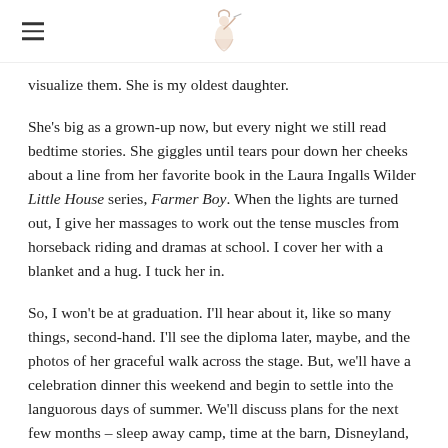[hamburger menu icon] [logo/illustration]
visualize them. She is my oldest daughter.
She's big as a grown-up now, but every night we still read bedtime stories. She giggles until tears pour down her cheeks about a line from her favorite book in the Laura Ingalls Wilder Little House series, Farmer Boy. When the lights are turned out, I give her massages to work out the tense muscles from horseback riding and dramas at school. I cover her with a blanket and a hug. I tuck her in.
So, I won't be at graduation. I'll hear about it, like so many things, second-hand. I'll see the diploma later, maybe, and the photos of her graceful walk across the stage. But, we'll have a celebration dinner this weekend and begin to settle into the languorous days of summer. We'll discuss plans for the next few months – sleep away camp, time at the barn, Disneyland, camping, bike rides.